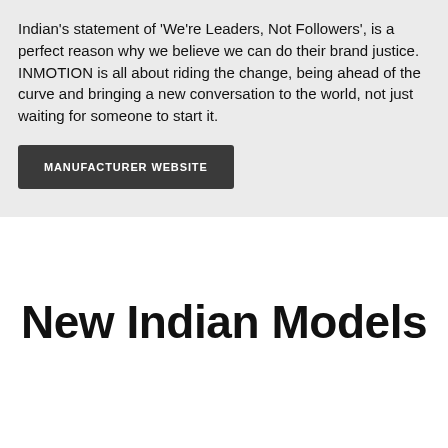Indian's statement of 'We're Leaders, Not Followers', is a perfect reason why we believe we can do their brand justice. INMOTION is all about riding the change, being ahead of the curve and bringing a new conversation to the world, not just waiting for someone to start it.
MANUFACTURER WEBSITE
New Indian Models